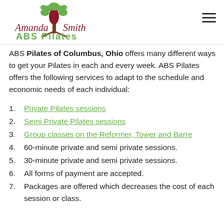[Figure (logo): Amanda Smith ABS Pilates logo with green tree and script/sans-serif text]
ABS Pilates of Columbus, Ohio offers many different ways to get your Pilates in each and every week. ABS Pilates offers the following services to adapt to the schedule and economic needs of each individual:
1. Private Pilates sessions
2. Semi Private Pilates sessions
3. Group classes on the Reformer, Tower and Barre
4. 60-minute private and semi private sessions.
5. 30-minute private and semi private sessions.
6. All forms of payment are accepted.
7. Packages are offered which decreases the cost of each session or class.